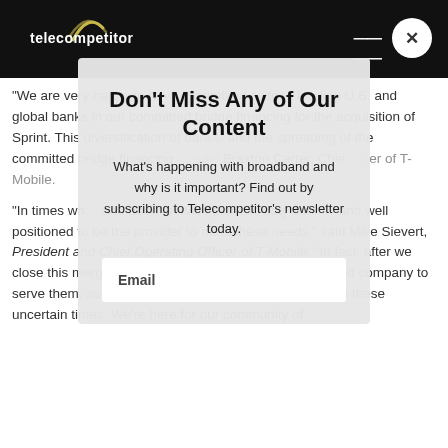telecompetitor
“We are very happy to have assembled sixteen leading U.S. and global banks in our committed bridge financing for the acquisition of Sprint. This diversification of banks, and the spreading of the committed bridge financing… said Braxton Carter, Chie… cer of T-Mobile.
Don’t Miss Any of Our Content
What’s happening with broadband and why is it important? Find out by subscribing to Telecompetitor’s newsletter today.
“In times when… and about service plans to stay conn… and well positioned to be the provider to meet these needs,” said Mike Sievert, President and Chief Operating Officer of T-Mobile. “In fact, after we close this merger, the New T-Mo… be the best positioned company to serve them, as more and more consumers seek value in these uncertain times. We’re here for our community of…
Email